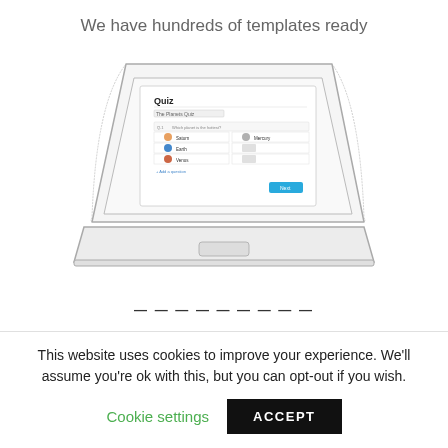We have hundreds of templates ready
[Figure (illustration): Hand-drawn sketch of a laptop computer displaying a quiz interface with the title 'Quiz', subtitle 'The Planets Quiz', a table of planet answers including Saturn, Earth, Venus, Mercury, a blue Next button, and an 'Add a question' link.]
This website uses cookies to improve your experience. We'll assume you're ok with this, but you can opt-out if you wish.
Cookie settings
ACCEPT